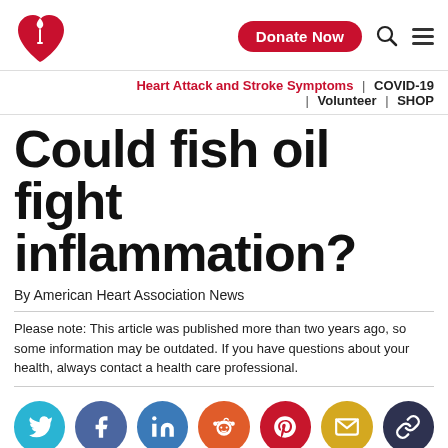American Heart Association — Donate Now | Search | Menu
Heart Attack and Stroke Symptoms | COVID-19 | Volunteer | SHOP
Could fish oil fight inflammation?
By American Heart Association News
Please note: This article was published more than two years ago, so some information may be outdated. If you have questions about your health, always contact a health care professional.
[Figure (infographic): Social sharing buttons row: Twitter (teal), Facebook (blue), LinkedIn (blue), Reddit (orange), Pinterest (red), Email (yellow), Link (dark navy)]